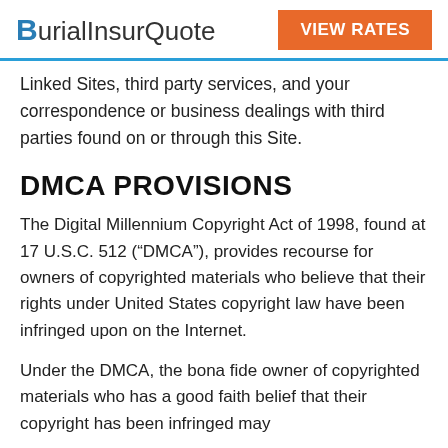BurialInsurQuote | VIEW RATES
Linked Sites, third party services, and your correspondence or business dealings with third parties found on or through this Site.
DMCA PROVISIONS
The Digital Millennium Copyright Act of 1998, found at 17 U.S.C. 512 (“DMCA”), provides recourse for owners of copyrighted materials who believe that their rights under United States copyright law have been infringed upon on the Internet.
Under the DMCA, the bona fide owner of copyrighted materials who has a good faith belief that their copyright has been infringed may